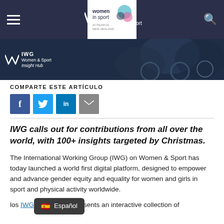IWG Women & Sport | Women in Sport
[Figure (photo): Hero banner image showing wheelchair athletes, with IWG Women & Sport Insight Hub logo overlay on dark blue background]
COMPARTE ESTE ARTÍCULO
[Figure (infographic): Social share buttons: Facebook (blue), Twitter (light blue), LinkedIn (dark blue), Email (grey)]
IWG calls out for contributions from all over the world, with 100+ insights targeted by Christmas.
The International Working Group (IWG) on Women & Sport has today launched a world first digital platform, designed to empower and advance gender equity and equality for women and girls in sport and physical activity worldwide.
los [IWG Insight Hub] presents an interactive collection of